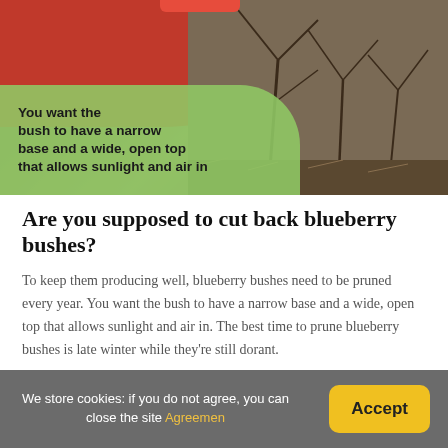[Figure (photo): Person in red jacket pruning blueberry bushes outdoors, with bare branches and ground visible. A green speech bubble overlay reads: You want the bush to have a narrow base and a wide, open top that allows sunlight and air in]
Are you supposed to cut back blueberry bushes?
To keep them producing well, blueberry bushes need to be pruned every year. You want the bush to have a narrow base and a wide, open top that allows sunlight and air in. The best time to prune blueberry bushes is late winter while they're still dorant.
What is the life expectancy of a blueberry bush?
We store cookies: if you do not agree, you can close the site Agreemen